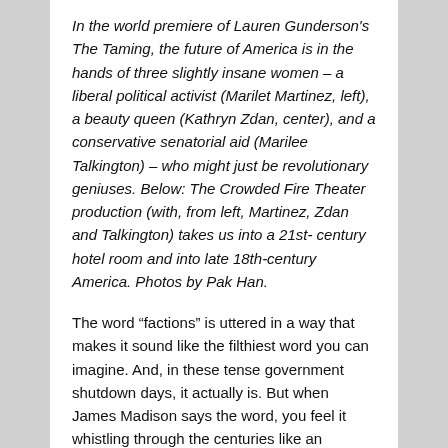In the world premiere of Lauren Gunderson's The Taming, the future of America is in the hands of three slightly insane women – a liberal political activist (Marilet Martinez, left), a beauty queen (Kathryn Zdan, center), and a conservative senatorial aid (Marilee Talkington) – who might just be revolutionary geniuses. Below: The Crowded Fire Theater production (with, from left, Martinez, Zdan and Talkington) takes us into a 21st-century hotel room and into late 18th-century America. Photos by Pak Han.
The word “factions” is uttered in a way that makes it sound like the filthiest word you can imagine. And, in these tense government shutdown days, it actually is. But when James Madison says the word, you feel it whistling through the centuries like an airborne bomb that explodes afresh every time political idiocy allows factions (it’s such an easy word to say with loathing) to hijack democracy.
The world premiere of San Francisco playwright Lauren